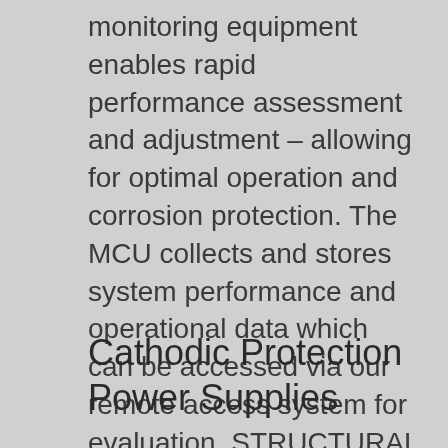monitoring equipment enables rapid performance assessment and adjustment – allowing for optimal operation and corrosion protection. The MCU collects and stores system performance and operational data which can be accessed via our remote access system for evaluation. STRUCTURAL TECHNOLOGIES provides expert technical support to produce and custom program ongoing monitoring and system controls.
Cathodic Protection Power Supplies